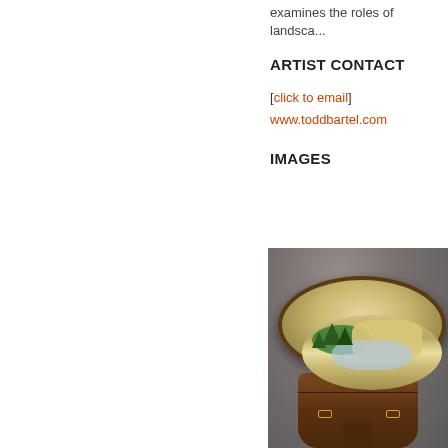examines the roles of landsca...
ARTIST CONTACT
[click to email]
www.toddbartel.com
IMAGES
[Figure (photo): A circular table with a three-dimensional landscape diorama on top, featuring trees, terrain, and a river or lake, mounted on a pedestal base. The table has a dark wooden rim with drawer pulls.]